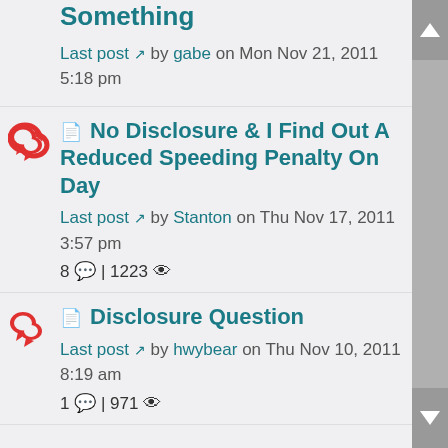Something
Last post by gabe on Mon Nov 21, 2011 5:18 pm
No Disclosure & I Find Out A Reduced Speeding Penalty On Day
Last post by Stanton on Thu Nov 17, 2011 3:57 pm
8 | 1223
Disclosure Question
Last post by hwybear on Thu Nov 10, 2011 8:19 am
1 | 971